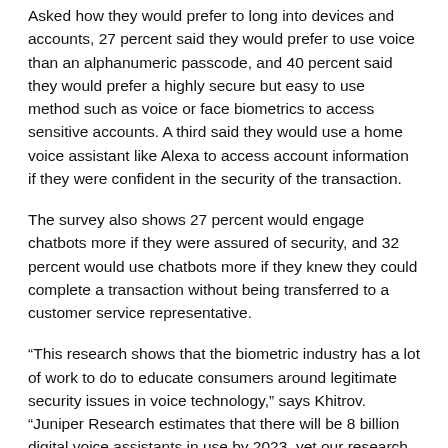Asked how they would prefer to long into devices and accounts, 27 percent said they would prefer to use voice than an alphanumeric passcode, and 40 percent said they would prefer a highly secure but easy to use method such as voice or face biometrics to access sensitive accounts. A third said they would use a home voice assistant like Alexa to access account information if they were confident in the security of the transaction.
The survey also shows 27 percent would engage chatbots more if they were assured of security, and 32 percent would use chatbots more if they knew they could complete a transaction without being transferred to a customer service representative.
“This research shows that the biometric industry has a lot of work to do to educate consumers around legitimate security issues in voice technology,” says Khitrov. “Juniper Research estimates that there will be 8 billion digital voice assistants in use by 2023, yet our research suggests that despite such strong adoption, concerns about security are curbing what could be even stronger growth. Those of us in the biometric industry have a responsibility to educate consumers about the risks of deepfakes and synthetic voice, but also a real opportunity to educate consumers about the many benefits of biometrics, including improved security. Just as the...